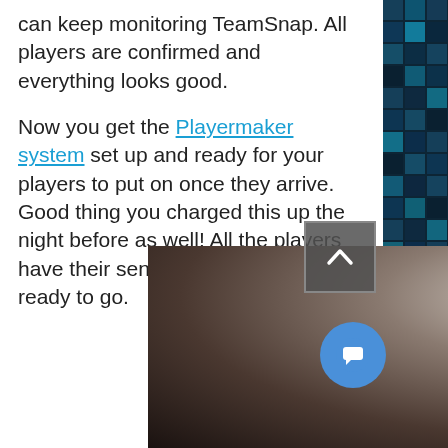can keep monitoring TeamSnap.  All players are confirmed and everything looks good.

Now you get the Playermaker system set up and ready for your players to put on once they arrive.  Good thing you charged this up the night before as well!  All the players have their sensors on and are ready to go.
[Figure (photo): Dark blurred photo of what appears to be a sports field or indoor venue, with a scroll-up button (chevron icon) and a blue chat bubble button overlaid in the lower right area.]